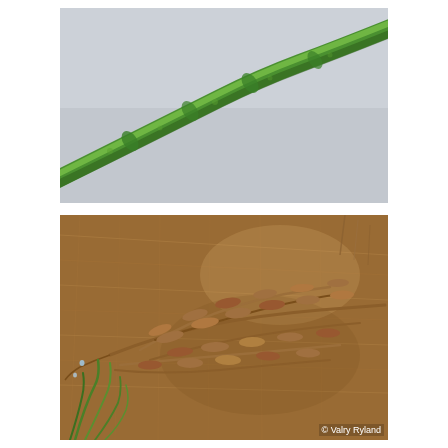[Figure (photo): Close-up macro photograph of a slender green plant stem/stolon against a light gray background, showing a thin tubular green structure running diagonally from lower-left to upper-right with slight constrictions along its length.]
[Figure (photo): Macro photograph of dried brown seed pods or fruit clusters of an aquatic plant, arranged in branching pattern against a blurred brown fibrous background. Fresh green grass-like leaves visible in lower left. Photo credit: Valry Ryland.]
© Valry Ryland